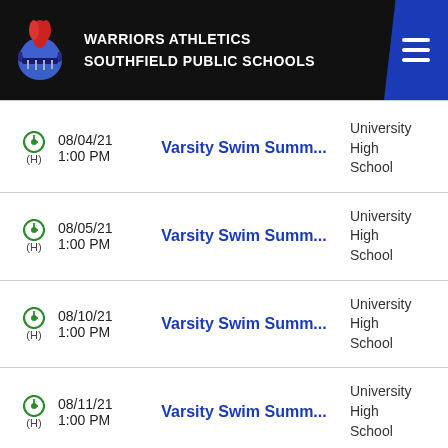WARRIORS ATHLETICS SOUTHFIELD PUBLIC SCHOOLS
|  | Date/Time | Event | Location |
| --- | --- | --- | --- |
| (H) | 08/04/21 1:00 PM | Varsity Swim Summ... | University High School |
| (H) | 08/05/21 1:00 PM | Varsity Swim Summ... | University High School |
| (H) | 08/10/21 1:00 PM | Varsity Swim Summ... | University High School |
| (H) | 08/11/21 1:00 PM | Varsity Swim Summ... | University High School |
| (H) | 08/12/21 | Varsity Swim Summ... | University |